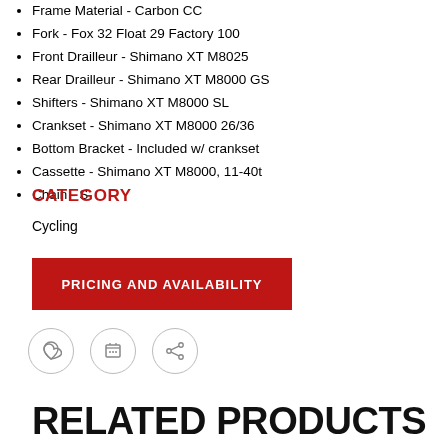Frame Material - Carbon CC
Fork - Fox 32 Float 29 Factory 100
Front Drailleur - Shimano XT M8025
Rear Drailleur - Shimano XT M8000 GS
Shifters - Shimano XT M8000 SL
Crankset - Shimano XT M8000 26/36
Bottom Bracket - Included w/ crankset
Cassette - Shimano XT M8000, 11-40t
Chain - S
CATEGORY
Cycling
PRICING AND AVAILABILITY
RELATED PRODUCTS